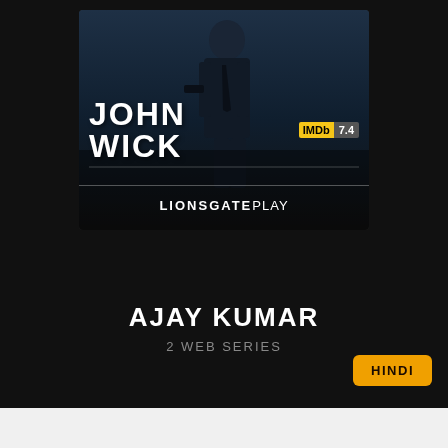[Figure (screenshot): John Wick movie poster on Lionsgate Play with IMDb rating 7.4, showing a person in dark suit with gun, blue/dark tones]
AJAY KUMAR
2 WEB SERIES
HINDI